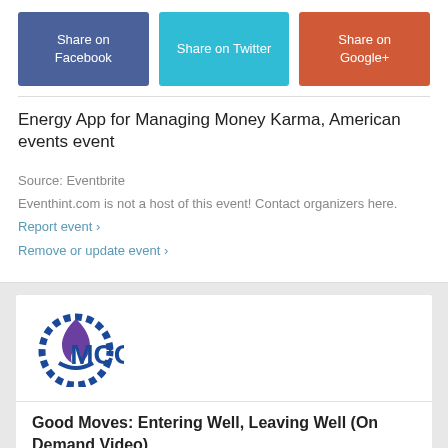[Figure (other): Share on Facebook button (dark blue)]
[Figure (other): Share on Twitter button (cyan)]
[Figure (other): Share on Google+ button (orange-red)]
Energy App for Managing Money Karma, American events event
Source: Eventbrite
Eventhint.com is not a host of this event! Contact organizers here.
Report event ›
Remove or update event ›
[Figure (logo): MCC logo with blue circular emblem and purple flame, with text MCC.]
Good Moves: Entering Well, Leaving Well (On Demand Video)
Thursday 07. February 2019